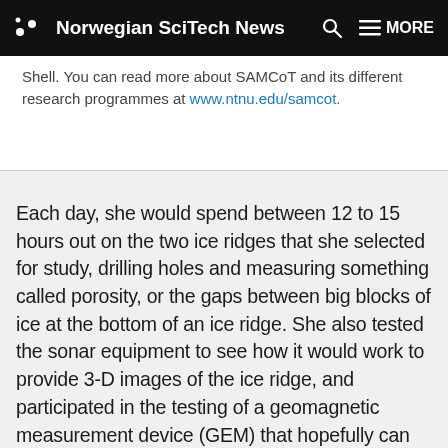Norwegian SciTech News
Shell. You can read more about SAMCoT and its different research programmes at www.ntnu.edu/samcot.
Each day, she would spend between 12 to 15 hours out on the two ice ridges that she selected for study, drilling holes and measuring something called porosity, or the gaps between big blocks of ice at the bottom of an ice ridge. She also tested the sonar equipment to see how it would work to provide 3-D images of the ice ridge, and participated in the testing of a geomagnetic measurement device (GEM) that hopefully can produce 3-D images of the porosity of the ice ridges in the future.